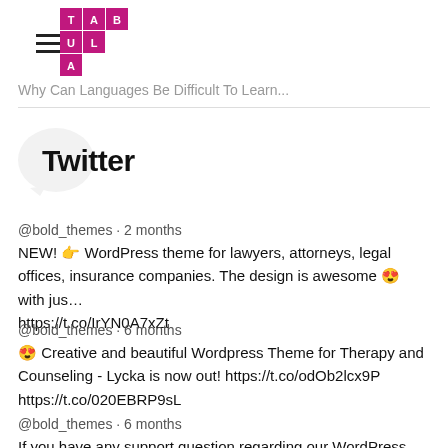TABULA (logo)
Why Can Languages Be Difficult To Learn...
Twitter
@bold_themes · 2 months
NEW! 👉 WordPress theme for lawyers, attorneys, legal offices, insurance companies. The design is awesome 😍 with jus… https://t.co/IrYN0A7xZt
@bold_themes · 6 months
😍 Creative and beautiful Wordpress Theme for Therapy and Counseling - Lycka is now out! https://t.co/odOb2lcx9P https://t.co/020EBRP9sL
@bold_themes · 6 months
If you have any support question regarding our WordPress